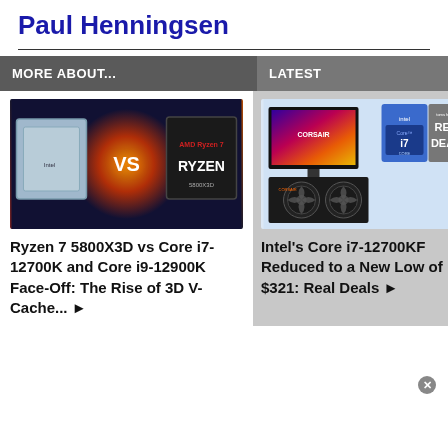Paul Henningsen
MORE ABOUT...
LATEST
[Figure (photo): CPU comparison image showing two processors with 'vs' text between them and RYZEN branding on right side, with fire/lightning visual effects]
Ryzen 7 5800X3D vs Core i7-12700K and Core i9-12900K Face-Off: The Rise of 3D V-Cache... ▶
[Figure (photo): Image showing a Corsair monitor, Intel Core i7 box, CPU cooler fans, and Tom's Hardware Real Deals promotional graphic]
Intel's Core i7-12700KF Reduced to a New Low of $321: Real Deals ▶